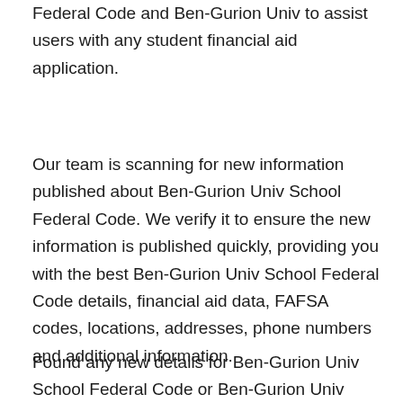Federal Code and Ben-Gurion Univ to assist users with any student financial aid application.
Our team is scanning for new information published about Ben-Gurion Univ School Federal Code. We verify it to ensure the new information is published quickly, providing you with the best Ben-Gurion Univ School Federal Code details, financial aid data, FAFSA codes, locations, addresses, phone numbers and additional information.
Found any new details for Ben-Gurion Univ School Federal Code or Ben-Gurion Univ